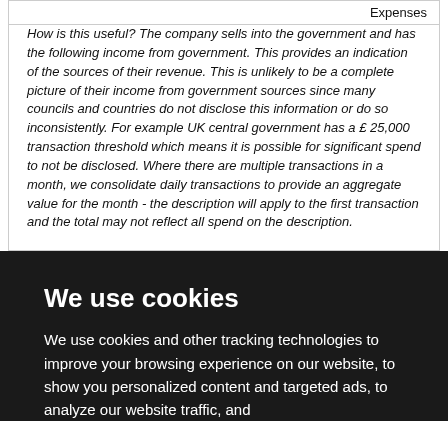Expenses
How is this useful? The company sells into the government and has the following income from government. This provides an indication of the sources of their revenue. This is unlikely to be a complete picture of their income from government sources since many councils and countries do not disclose this information or do so inconsistently. For example UK central government has a £ 25,000 transaction threshold which means it is possible for significant spend to not be disclosed. Where there are multiple transactions in a month, we consolidate daily transactions to provide an aggregate value for the month - the description will apply to the first transaction and the total may not reflect all spend on the description.
We use cookies
We use cookies and other tracking technologies to improve your browsing experience on our website, to show you personalized content and targeted ads, to analyze our website traffic, and